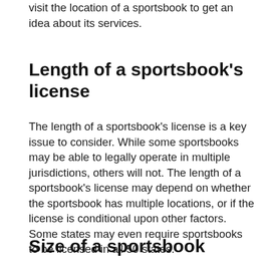visit the location of a sportsbook to get an idea about its services.
Length of a sportsbook’s license
The length of a sportsbook’s license is a key issue to consider. While some sportsbooks may be able to legally operate in multiple jurisdictions, others will not. The length of a sportsbook’s license may depend on whether the sportsbook has multiple locations, or if the license is conditional upon other factors. Some states may even require sportsbooks to be licensed in all 50 states.
Size of a sportsbook